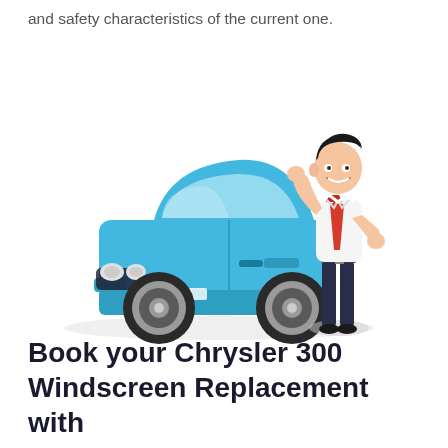and safety characteristics of the current one.
[Figure (illustration): Cartoon illustration of a smiling businessman in white shirt and red tie standing next to a blue car, gesturing with his hand.]
Book your Chrysler 300 Windscreen Replacement with